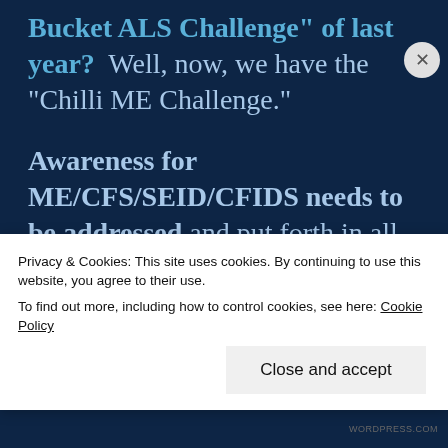Bucket ALS Challenge" of last year?  Well, now, we have the "Chilli ME Challenge."
Awareness for ME/CFS/SEID/CFIDS needs to be addressed and put forth in all media.  The need for research is dire.  There are many brilliant and talented scientists who are
Privacy & Cookies: This site uses cookies. By continuing to use this website, you agree to their use.
To find out more, including how to control cookies, see here: Cookie Policy